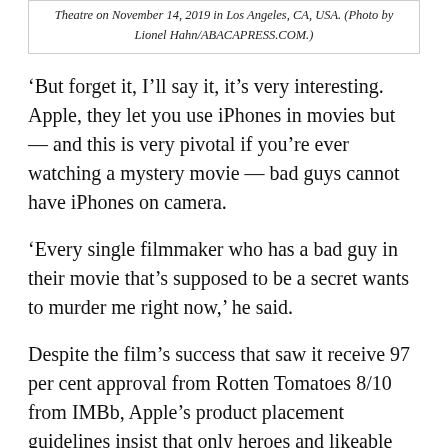Theatre on November 14, 2019 in Los Angeles, CA, USA. (Photo by Lionel Hahn/ABACAPRESS.COM.)
‘But forget it, I’ll say it, it’s very interesting. Apple, they let you use iPhones in movies but — and this is very pivotal if you’re ever watching a mystery movie — bad guys cannot have iPhones on camera.
‘Every single filmmaker who has a bad guy in their movie that’s supposed to be a secret wants to murder me right now,’ he said.
Despite the film’s success that saw it receive 97 per cent approval from Rotten Tomatoes 8/10 from IMBb, Apple’s product placement guidelines insist that only heroes and likeable characters use iPhones.
The policy proves to be an issue for popular horror or